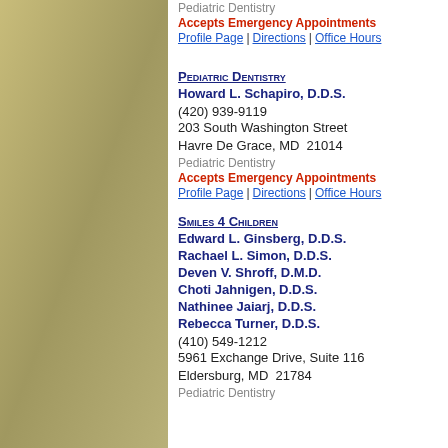Catonsville, MD  21228
Pediatric Dentistry
Accepts Emergency Appointments
Profile Page | Directions | Office Hours
Pediatric Dentistry
Howard L. Schapiro, D.D.S.
(420) 939-9119
203 South Washington Street
Havre De Grace, MD  21014
Pediatric Dentistry
Accepts Emergency Appointments
Profile Page | Directions | Office Hours
Smiles 4 Children
Edward L. Ginsberg, D.D.S.
Rachael L. Simon, D.D.S.
Deven V. Shroff, D.M.D.
Choti Jahnigen, D.D.S.
Nathinee Jaiarj, D.D.S.
Rebecca Turner, D.D.S.
(410) 549-1212
5961 Exchange Drive, Suite 116
Eldersburg, MD  21784
Pediatric Dentistry